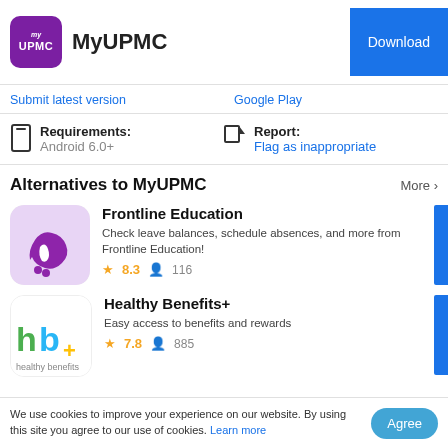MyUPMC | Download
Submit latest version | Google Play
Requirements: Android 6.0+
Report: Flag as inappropriate
Alternatives to MyUPMC
More >
Frontline Education
Check leave balances, schedule absences, and more from Frontline Education!
★ 8.3  👤 116
Healthy Benefits+
Easy access to benefits and rewards
★ 7.8  👤 885
We use cookies to improve your experience on our website. By using this site you agree to our use of cookies. Learn more